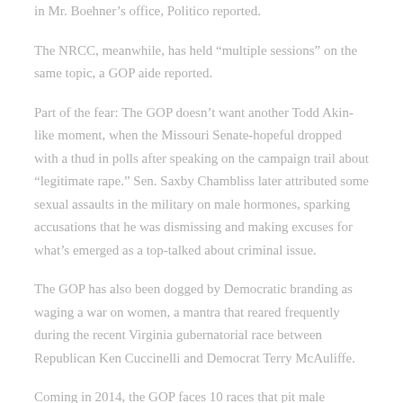in Mr. Boehner's office, Politico reported.
The NRCC, meanwhile, has held “multiple sessions” on the same topic, a GOP aide reported.
Part of the fear: The GOP doesn’t want another Todd Akin-like moment, when the Missouri Senate-hopeful dropped with a thud in polls after speaking on the campaign trail about “legitimate rape.” Sen. Saxby Chambliss later attributed some sexual assaults in the military on male hormones, sparking accusations that he was dismissing and making excuses for what’s emerged as a top-talked about criminal issue.
The GOP has also been dogged by Democratic branding as waging a war on women, a mantra that reared frequently during the recent Virginia gubernatorial race between Republican Ken Cuccinelli and Democrat Terry McAuliffe.
Coming in 2014, the GOP faces 10 races that pit male